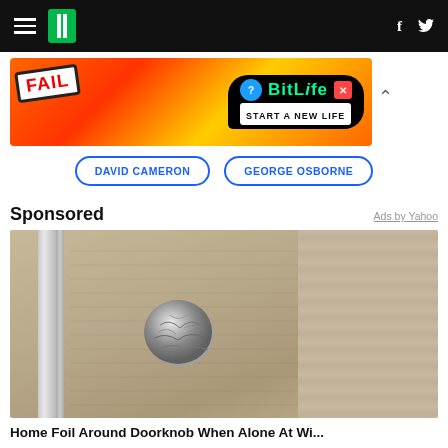HuffPost navigation bar with hamburger menu, HuffPost logo, Facebook and Twitter icons
[Figure (photo): BitLife advertisement banner — 'FAIL START A NEW LIFE' game ad with cartoon character and fire graphics]
DAVID CAMERON
GEORGE OSBORNE
Sponsored
Ads by Yahoo
[Figure (photo): Close-up photo of a door knob with tin foil/aluminum foil wrapped around it on a wooden door]
Home Foil Around Doorknob When Alone At Wi...